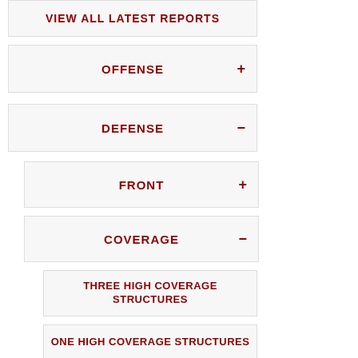VIEW ALL LATEST REPORTS
OFFENSE +
DEFENSE −
FRONT +
COVERAGE −
THREE HIGH COVERAGE STRUCTURES
ONE HIGH COVERAGE STRUCTURES
TWO HIGH COVERAGE STRUCTURES
SPLIT FIELD COVERAGE STRUCTURES